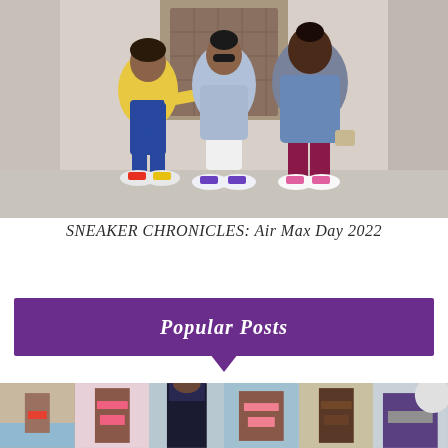[Figure (photo): Three women posing outdoors in front of a building entrance, all wearing Nike Air Max sneakers. Left woman wears yellow sweatshirt and ripped jeans, center woman wears denim jacket over white dress, right woman wears denim jacket and burgundy leggings.]
SNEAKER CHRONICLES: Air Max Day 2022
Popular Posts
[Figure (photo): A horizontal strip of six thumbnail photos showing various women in swimwear and summer outfits.]